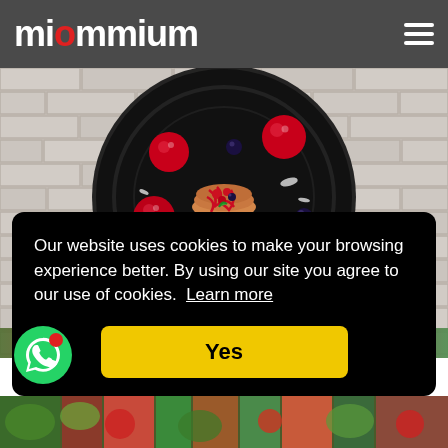miummium
[Figure (photo): Overhead shot of a gourmet pancake dessert on a black plate with red berry spheres and blueberries, dusted with powdered sugar, on a white brick background]
Our website uses cookies to make your browsing experience better. By using our site you agree to our use of cookies. Learn more
Yes